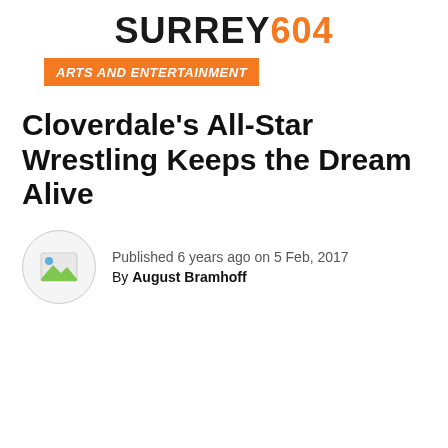SURREY604
ARTS AND ENTERTAINMENT
Cloverdale's All-Star Wrestling Keeps the Dream Alive
Published 6 years ago on 5 Feb, 2017
By August Bramhoff